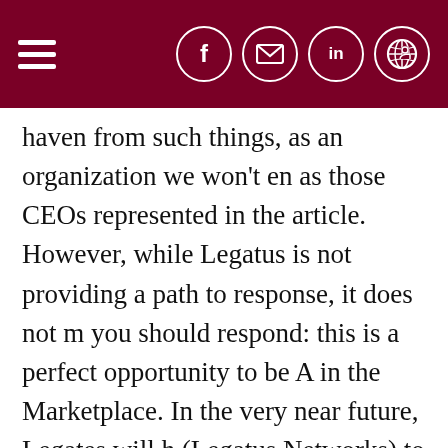Navigation and social icons header bar
haven from such things, as an organization we won't en as those CEOs represented in the article. However, while Legatus is not providing a path to response, it does not m you should respond: this is a perfect opportunity to be A in the Marketplace. In the very near future, Legates will h (Legatus Networks) to be able to opt into conversations want to play an active role. Stay tuned for this exciting r 2019.
As a “Christian witness,” you are called to stand up and f How much stronger the Church is by having disciples do commanded us to do, to “go therefore and make disciple